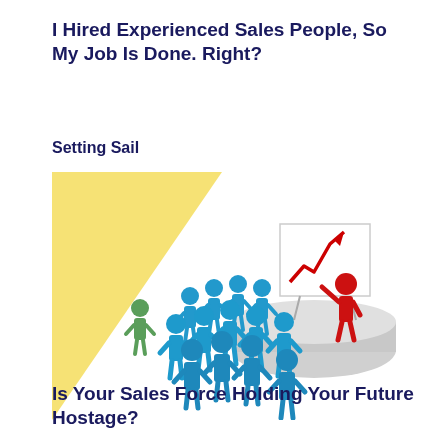I Hired Experienced Sales People, So My Job Is Done. Right?
Setting Sail
[Figure (illustration): 3D illustration of a group of blue human figures standing as an audience, with one green figure at the side, facing a red human figure standing on a circular podium pointing to a presentation board showing an upward trending red arrow chart. A yellow triangular shape is in the background on the left.]
Is Your Sales Force Holding Your Future Hostage?